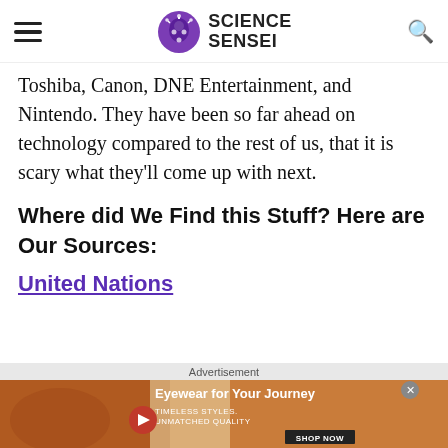Science Sensei
Toshiba, Canon, DNE Entertainment, and Nintendo. They have been so far ahead on technology compared to the rest of us, that it is scary what they'll come up with next.
Where did We Find this Stuff? Here are Our Sources:
United Nations
Advertisement